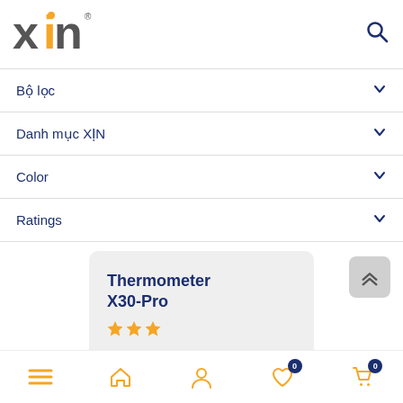[Figure (logo): XN brand logo with orange X and gray n letters]
Bộ lọc
Danh mục XỊN
Color
Ratings
Thermometer X30-Pro
[Figure (screenshot): Scroll to top button with double chevron up arrows]